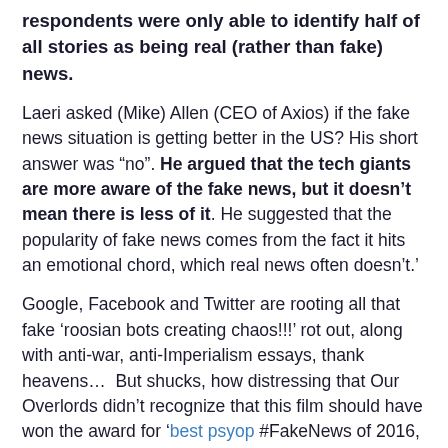respondents were only able to identify half of all stories as being real (rather than fake) news.
Laeri asked (Mike) Allen (CEO of Axios) if the fake news situation is getting better in the US? His short answer was “no”. He argued that the tech giants are more aware of the fake news, but it doesn’t mean there is less of it. He suggested that the popularity of fake news comes from the fact it hits an emotional chord, which real news often doesn’t.’
Google, Facebook and Twitter are rooting all that fake ‘roosian bots creating chaos!!!’ rot out, along with anti-war, anti-Imperialism essays, thank heavens…  But shucks, how distressing that Our Overlords didn’t recognize that this film should have won the award for ‘best psyop #FakeNews of 2016, speaking of ‘hitting an emotional